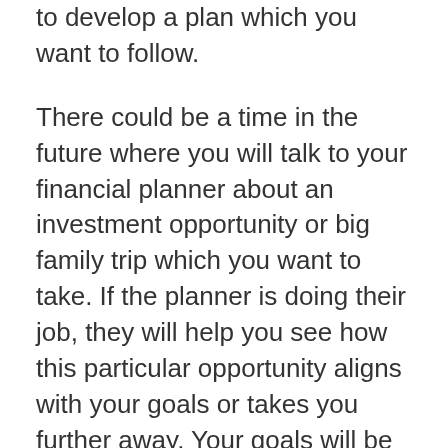to develop a plan which you want to follow.
There could be a time in the future where you will talk to your financial planner about an investment opportunity or big family trip which you want to take. If the planner is doing their job, they will help you see how this particular opportunity aligns with your goals or takes you further away. Your goals will be the benchmark in which the financial planner measures your success.
Discovering all the facets of your finances and the goals you have for the short and long-term can only be achieved by asking questions. Let’s look at some of the questions you can expect to be asked so your planner understands the entire